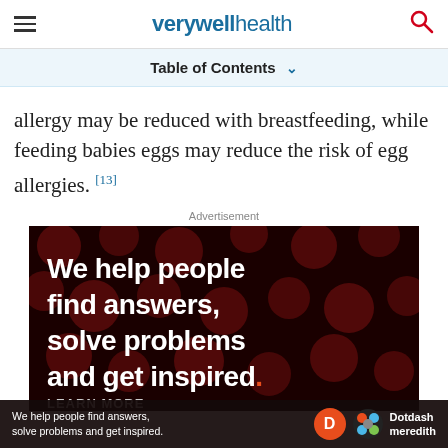verywell health
Table of Contents ∨
allergy may be reduced with breastfeeding, while feeding babies eggs may reduce the risk of egg allergies. [13]
Advertisement
[Figure (other): Advertisement banner with black background and dark red polka dots pattern. White bold text reads: 'We help people find answers, solve problems and get inspired.' with period in red. Bottom strip shows 'LEARN MORE' text partially visible. Dotdash Meredith logo shown in bottom overlay bar.]
We help people find answers, solve problems and get inspired.